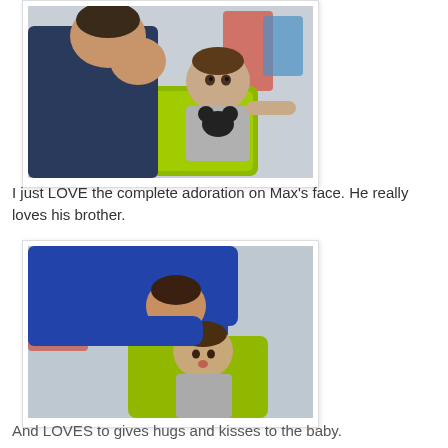[Figure (photo): A young boy looking adoringly at a baby sitting in a green chair. The baby is wearing a Mickey Mouse shirt. There are colorful chairs in the background.]
I just LOVE the complete adoration on Max's face. He really loves his brother.
[Figure (photo): A boy leaning down to hug and kiss a baby sitting in a green chair. Red and blue chairs visible in the background.]
And LOVES to gives hugs and kisses to the baby.